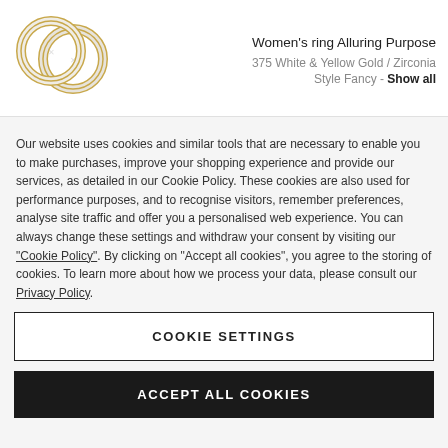[Figure (photo): Two overlapping wedding rings in white and yellow gold on a light background]
Women's ring Alluring Purpose
375 White & Yellow Gold / Zirconia
Style Fancy - Show all
Our website uses cookies and similar tools that are necessary to enable you to make purchases, improve your shopping experience and provide our services, as detailed in our Cookie Policy. These cookies are also used for performance purposes, and to recognise visitors, remember preferences, analyse site traffic and offer you a personalised web experience. You can always change these settings and withdraw your consent by visiting our “Cookie Policy”. By clicking on “Accept all cookies”, you agree to the storing of cookies. To learn more about how we process your data, please consult our Privacy Policy.
COOKIE SETTINGS
ACCEPT ALL COOKIES